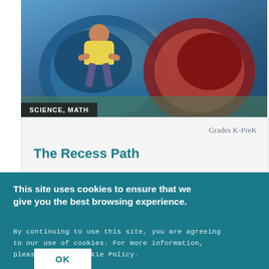[Figure (photo): Two young children crawling through colorful tunnel toys (blue and red) on a padded floor in a playroom or gym setting.]
SCIENCE, MATH
Grades K-PreK
The Recess Path
This site uses cookies to ensure that we give you the best browsing experience.
By continuing to use this site, you are agreeing to our use of cookies. For more information, please see our Cookie Policy.
OK